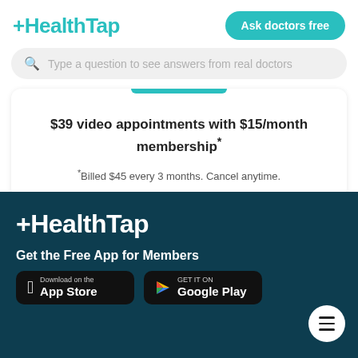[Figure (logo): HealthTap logo in teal/cyan color at top left]
[Figure (screenshot): Ask doctors free button, teal rounded rectangle]
[Figure (screenshot): Search bar: Type a question to see answers from real doctors]
$39 video appointments with $15/month membership*
*Billed $45 every 3 months. Cancel anytime.
[Figure (logo): HealthTap white logo on dark teal background]
Get the Free App for Members
[Figure (screenshot): Download on the App Store button]
[Figure (screenshot): Get it on Google Play button]
[Figure (other): Hamburger menu button, white circle with three lines]